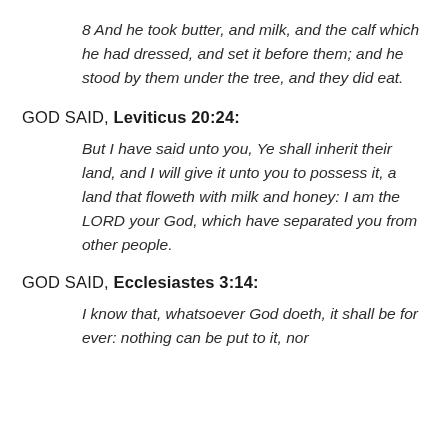8 And he took butter, and milk, and the calf which he had dressed, and set it before them; and he stood by them under the tree, and they did eat.
GOD SAID, Leviticus 20:24:
But I have said unto you, Ye shall inherit their land, and I will give it unto you to possess it, a land that floweth with milk and honey: I am the LORD your God, which have separated you from other people.
GOD SAID, Ecclesiastes 3:14:
I know that, whatsoever God doeth, it shall be for ever: nothing can be put to it, nor